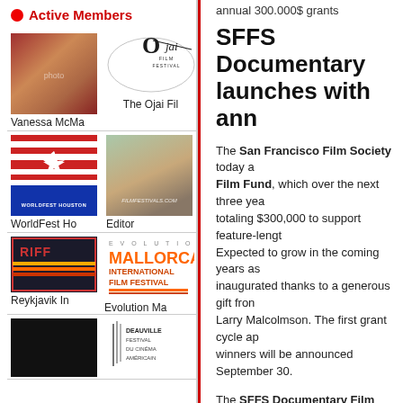Active Members
[Figure (photo): Photo of people at a film event (red carpet)]
Vanessa McMa
[Figure (logo): Ojai Film Festival logo]
The Ojai Fil
[Figure (logo): WorldFest Houston logo]
WorldFest Ho
[Figure (photo): Editor photo from filmfestivals.com]
Editor
[Figure (logo): RIFF - Reykjavik International Film Festival logo]
Reykjavik In
[Figure (logo): Evolution Mallorca International Film Festival logo]
Evolution Ma
[Figure (photo): Dark/black photo thumbnail]
[Figure (logo): Deauville Festival du Cinema Americain logo]
annual 300.000$ grants
SFFS Documentary Film Fund launches with annual 300,000$ grants
The San Francisco Film Society today announced the SFFS Documentary Film Fund, which over the next three years will provide grants totaling $300,000 to support feature-length documentary films. Expected to grow in the coming years as an endowed fund, it is inaugurated thanks to a generous gift from philanthropists Nion McEvoy and Larry Malcolmson. The first grant cycle applications are open now, and winners will be announced September 30.
The SFFS Documentary Film Fund is created to champion nonfiction work that is distinguished by compelling storytelling and an innovative visual approach. Each year from 2012-2014, $100,000 will be disbursed to further new work by documentary filmmakers.
Together with the Film Society's other suite of filmmaker grants — the SFFS/Kenneth Rainin Foundation Filmmaking Grants — this new focus on documentary film reaffirms the Film Society's deep commitment to the art of independent documentary and narrative filmmaking.